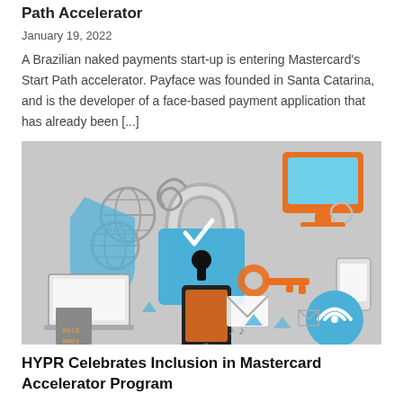Path Accelerator
January 19, 2022
A Brazilian naked payments start-up is entering Mastercard's Start Path accelerator. Payface was founded in Santa Catarina, and is the developer of a face-based payment application that has already been [...]
[Figure (illustration): Security and digital payments illustration featuring a blue padlock, orange key, globe icons, laptop, tablet, smartphone, shield with binary code, wifi symbol, and various digital icons on a gray background.]
HYPR Celebrates Inclusion in Mastercard Accelerator Program